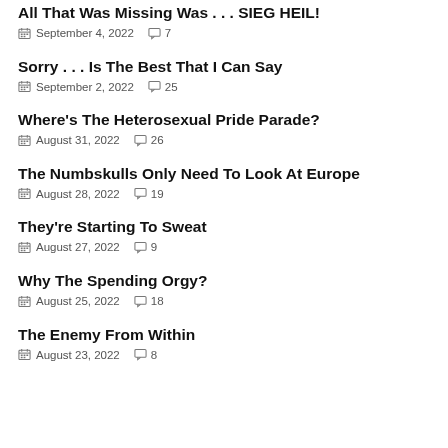All That Was Missing Was . . . SIEG HEIL! — September 4, 2022 — 7 comments
Sorry . . . Is The Best That I Can Say — September 2, 2022 — 25 comments
Where's The Heterosexual Pride Parade? — August 31, 2022 — 26 comments
The Numbskulls Only Need To Look At Europe — August 28, 2022 — 19 comments
They're Starting To Sweat — August 27, 2022 — 9 comments
Why The Spending Orgy? — August 25, 2022 — 18 comments
The Enemy From Within — August 23, 2022 — 8 comments